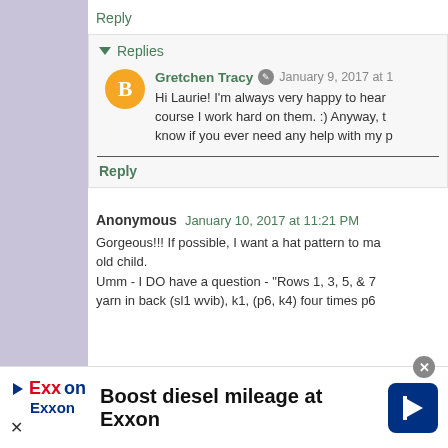Reply
▾ Replies
Gretchen Tracy  January 9, 2017 at 1
Hi Laurie! I'm always very happy to hear course I work hard on them. :) Anyway, t know if you ever need any help with my p
Reply
Anonymous  January 10, 2017 at 11:21 PM
Gorgeous!!! If possible, I want a hat pattern to ma old child.
Umm - I DO have a question - "Rows 1, 3, 5, & 7 yarn in back (sl1 wvib), k1, (p6, k4) four times p6
[Figure (infographic): Exxon advertisement banner: Boost diesel mileage at Exxon]